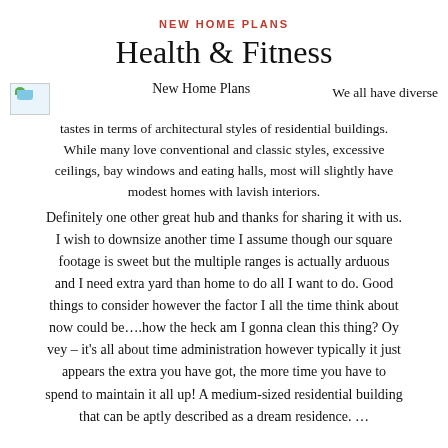NEW HOME PLANS
Health & Fitness
[Figure (photo): Small thumbnail image of a house or home exterior]
New Home Plans      We all have diverse tastes in terms of architectural styles of residential buildings. While many love conventional and classic styles, excessive ceilings, bay windows and eating halls, most will slightly have modest homes with lavish interiors.
Definitely one other great hub and thanks for sharing it with us. I wish to downsize another time I assume though our square footage is sweet but the multiple ranges is actually arduous and I need extra yard than home to do all I want to do. Good things to consider however the factor I all the time think about now could be....how the heck am I gonna clean this thing? Oy vey – it's all about time administration however typically it just appears the extra you have got, the more time you have to spend to maintain it all up! A medium-sized residential building that can be aptly described as a dream residence. …